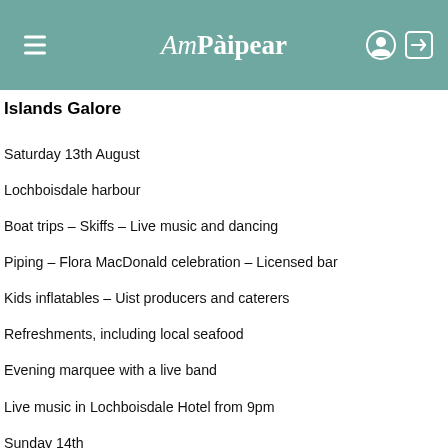Am Pàipear
Islands Galore
Saturday 13th August
Lochboisdale harbour
Boat trips – Skiffs – Live music and dancing
Piping – Flora MacDonald celebration – Licensed bar
Kids inflatables – Uist producers and caterers
Refreshments, including local seafood
Evening marquee with a live band
Live music in Lochboisdale Hotel from 9pm
Sunday 14th
3pm – Fishermen's mass in the marquee with Fr Ross Chrichton
Followed by a blessing of the boats
Short concert
Refreshments, including local seafood
See updates on social media!
Screen Machine is rolling into town!
The big blue truck of fun will be in Uist mid August, with a wide range